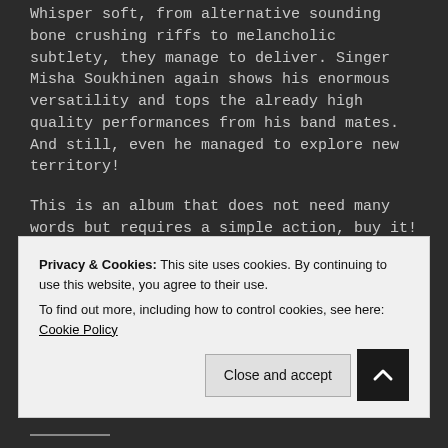Whisper soft, from alternative sounding bone crushing riffs to melancholic subtlety, they manage to deliver. Singer Misha Soukhinen again shows his enormous versatility and tops the already high quality performances from his band mates. And still, even he managed to explore new territory!
This is an album that does not need many words but requires a simple action, buy it! One of the contenders for album of the year in the progressive metal realm so an essential purchase. And again I feel this has cross over appeal to people into more heavy sounds, as well as those more into alternative music. I am hooked!
Privacy & Cookies: This site uses cookies. By continuing to use this website, you agree to their use.
To find out more, including how to control cookies, see here: Cookie Policy